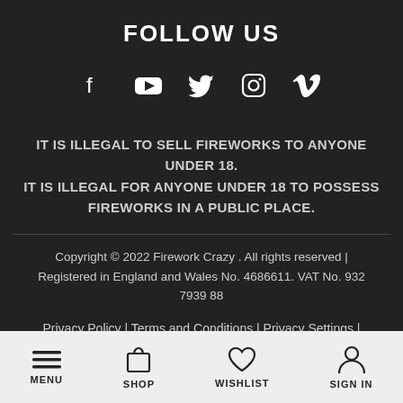FOLLOW US
[Figure (illustration): Social media icons: Facebook, YouTube, Twitter, Instagram, Vimeo]
IT IS ILLEGAL TO SELL FIREWORKS TO ANYONE UNDER 18. IT IS ILLEGAL FOR ANYONE UNDER 18 TO POSSESS FIREWORKS IN A PUBLIC PLACE.
Copyright © 2022 Firework Crazy . All rights reserved | Registered in England and Wales No. 4686611. VAT No. 932 7939 88
Privacy Policy | Terms and Conditions | Privacy Settings | Website by Design Box Media
MENU  SHOP  WISHLIST  SIGN IN